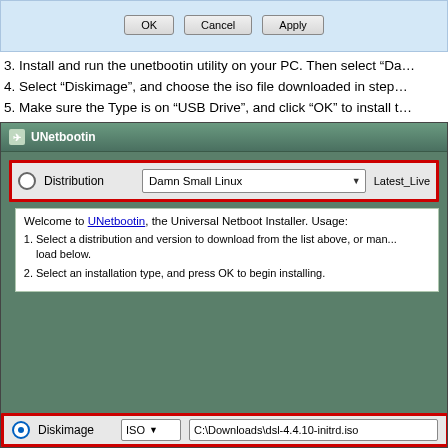[Figure (screenshot): Top portion of a Windows dialog box showing OK, Cancel, and Apply buttons]
3. Install and run the unetbootin utility on your PC. Then select “Da...
4. Select “Diskimage”, and choose the iso file downloaded in step...
5. Make sure the Type is on “USB Drive”, and click “OK” to install t...
[Figure (screenshot): UNetbootin application window showing Distribution set to Damn Small Linux with Latest_Live option, welcome text explaining usage, and bottom Diskimage row showing ISO file C:\Downloads\dsl-4.4.10-initrd.iso]